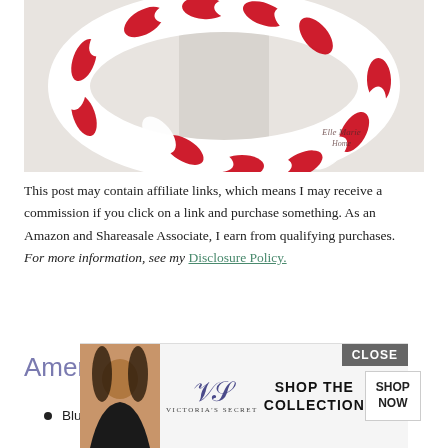[Figure (photo): A red and white fabric rag wreath hung on a white door, with Elle Marie Home watermark in the lower right corner of the photo.]
This post may contain affiliate links, which means I may receive a commission if you click on a link and purchase something. As an Amazon and Shareasale Associate, I earn from qualifying purchases. For more information, see my Disclosure Policy.
American Flag Wreath Materials
Blue with White Stars Plastic Table...
[Figure (advertisement): Victoria's Secret advertisement with 'Shop the Collection' text and 'Shop Now' button, with a Close button overlay.]